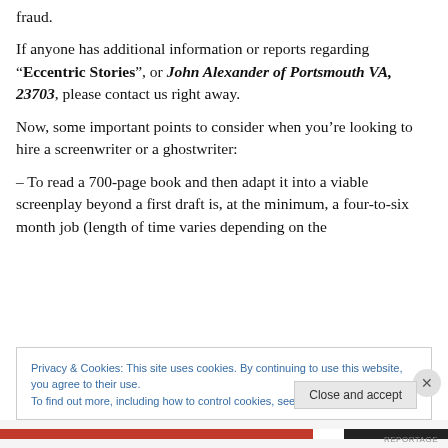fraud.
If anyone has additional information or reports regarding "Eccentric Stories", or John Alexander of Portsmouth VA, 23703, please contact us right away.
Now, some important points to consider when you’re looking to hire a screenwriter or a ghostwriter:
– To read a 700-page book and then adapt it into a viable screenplay beyond a first draft is, at the minimum, a four-to-six month job (length of time varies depending on the
Privacy & Cookies: This site uses cookies. By continuing to use this website, you agree to their use.
To find out more, including how to control cookies, see here: Cookie Policy